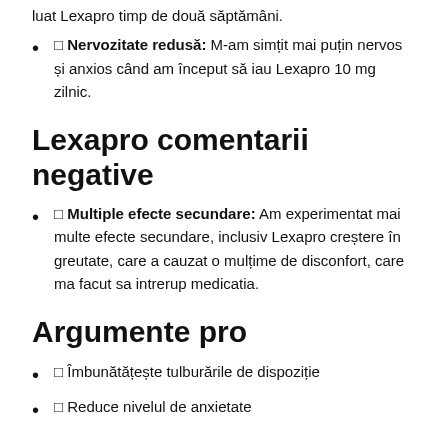luat Lexapro timp de două săptămâni.
🔲 Nervozitate redusă: M-am simțit mai puțin nervos și anxios când am început să iau Lexapro 10 mg zilnic.
Lexapro comentarii negative
🔲 Multiple efecte secundare: Am experimentat mai multe efecte secundare, inclusiv Lexapro creștere în greutate, care a cauzat o mulțime de disconfort, care ma facut sa intrerup medicatia.
Argumente pro
🔲 Îmbunătățește tulburările de dispoziție
🔲 Reduce nivelul de anxietate